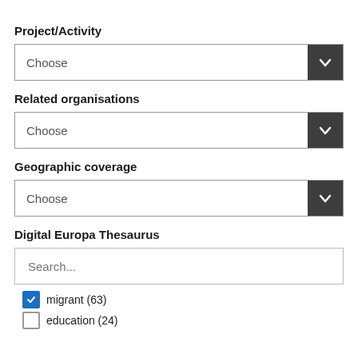Project/Activity
[Figure (screenshot): Dropdown selector with 'Choose' placeholder and dark chevron button]
Related organisations
[Figure (screenshot): Dropdown selector with 'Choose' placeholder and dark chevron button]
Geographic coverage
[Figure (screenshot): Dropdown selector with 'Choose' placeholder and dark chevron button]
Digital Europa Thesaurus
[Figure (screenshot): Search text input with placeholder 'Search...']
migrant (63)
education (24)